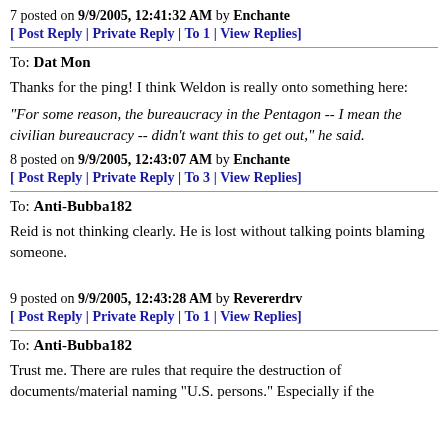7 posted on 9/9/2005, 12:41:32 AM by Enchante
[ Post Reply | Private Reply | To 1 | View Replies]
To: Dat Mon
Thanks for the ping! I think Weldon is really onto something here:
"For some reason, the bureaucracy in the Pentagon -- I mean the civilian bureaucracy -- didn't want this to get out," he said.
8 posted on 9/9/2005, 12:43:07 AM by Enchante
[ Post Reply | Private Reply | To 3 | View Replies]
To: Anti-Bubba182
Reid is not thinking clearly. He is lost without talking points blaming someone.
9 posted on 9/9/2005, 12:43:28 AM by Revererdrv
[ Post Reply | Private Reply | To 1 | View Replies]
To: Anti-Bubba182
Trust me. There are rules that require the destruction of documents/material naming "U.S. persons." Especially if the